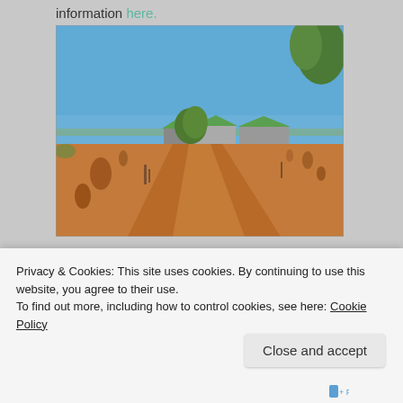information here.
[Figure (photo): Photograph of a dry outback Australian landscape with red dirt ground, sparse trees, and buildings with green roofs in the background under a clear blue sky.]
Privacy & Cookies: This site uses cookies. By continuing to use this website, you agree to their use.
To find out more, including how to control cookies, see here: Cookie Policy
Close and accept